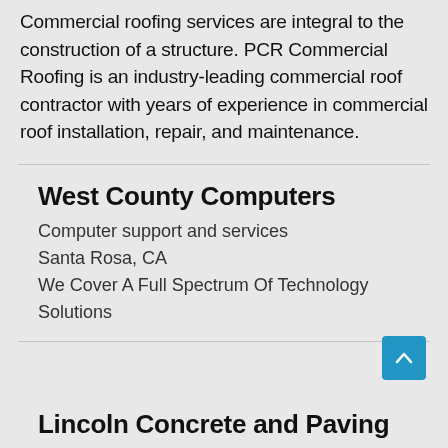Commercial roofing services are integral to the construction of a structure. PCR Commercial Roofing is an industry-leading commercial roof contractor with years of experience in commercial roof installation, repair, and maintenance.
West County Computers
Computer support and services
Santa Rosa, CA
We Cover A Full Spectrum Of Technology Solutions
Lincoln Concrete and Paving